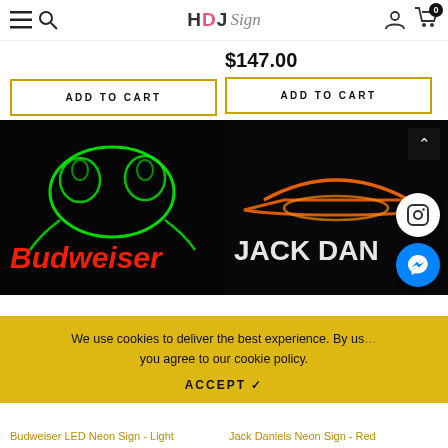HDJSign — e-commerce header with menu, search, account, cart icons
ADD TO CART
$147.00
ADD TO CART
[Figure (photo): Budweiser LED neon sign on black background showing a frog and Budweiser text in green and red neon]
[Figure (photo): Jack Daniels neon sign on black background showing a cowboy hat in orange/white neon with text JACK DAN visible]
We use cookies to deliver the best experience. By us... you agree to our cookie policy.
ACCEPT ✓
Budweiser LED Neon Sign - Light
Jack Daniels Neon Sign - Red